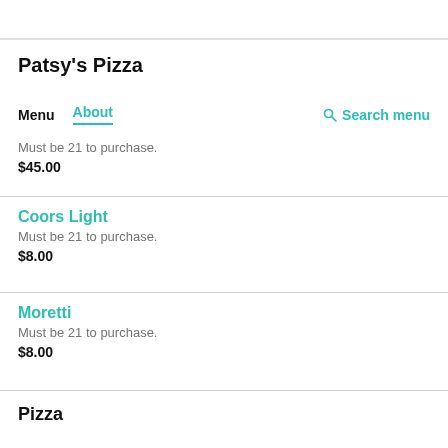Patsy's Pizza
Menu  About  Search menu
Must be 21 to purchase.
$45.00
Coors Light
Must be 21 to purchase.
$8.00
Moretti
Must be 21 to purchase.
$8.00
Pizza